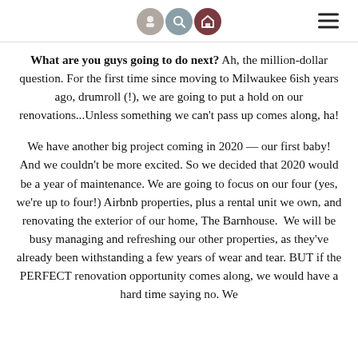[navigation icons and hamburger menu]
What are you guys going to do next? Ah, the million-dollar question. For the first time since moving to Milwaukee 6ish years ago, drumroll (!), we are going to put a hold on our renovations...Unless something we can't pass up comes along, ha!
We have another big project coming in 2020 — our first baby! And we couldn't be more excited. So we decided that 2020 would be a year of maintenance. We are going to focus on our four (yes, we're up to four!) Airbnb properties, plus a rental unit we own, and renovating the exterior of our home, The Barnhouse. We will be busy managing and refreshing our other properties, as they've already been withstanding a few years of wear and tear. BUT if the PERFECT renovation opportunity comes along, we would have a hard time saying no. We